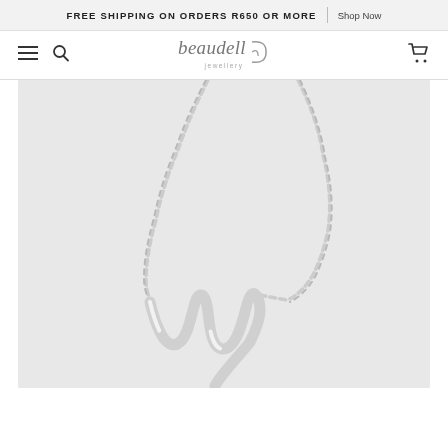FREE SHIPPING ON ORDERS R650 OR MORE | Shop Now
[Figure (screenshot): Beaudell Jewellery website navigation bar with hamburger menu, search icon, Beaudell logo, and cart icon]
[Figure (photo): Silver cursive letter W necklace pendant on a thin silver chain, displayed on a light grey background]